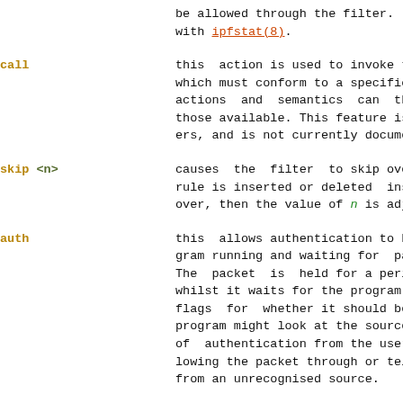be allowed through the filter.  These with ipfstat(8).
call  this action is used to invoke the r which must conform to a specific cal actions  and  semantics  can  thus those available. This feature is for ers, and is not currently documented
skip <n>  causes  the  filter  to skip over th rule is inserted or deleted  inside over, then the value of n is adjuste
auth  this  allows authentication to be pe gram running and waiting for  packet The  packet  is  held for a period o whilst it waits for the program to r flags  for  whether it should be all program might look at the source add of  authentication from the user (su lowing the packet through or telling from an unrecognised source.
preauth  tells  the filter that for packets o in the pre-authenticated list for fu further  matching rule is found,  the